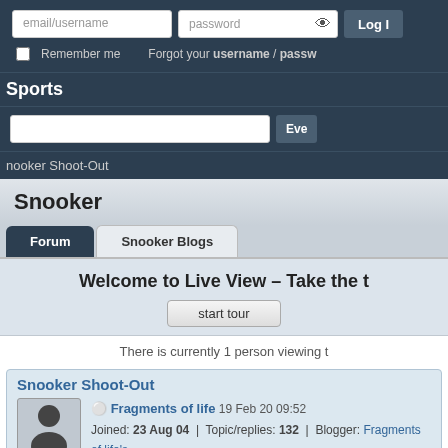email/username | password | Log In | Remember me | Forgot your username / password
Sports
nooker Shoot-Out
Snooker
Forum | Snooker Blogs
Welcome to Live View – Take the t
start tour
There is currently 1 person viewing t
Snooker Shoot-Out
Fragments of life 19 Feb 20 09:52
Joined: 23 Aug 04 | Topic/replies: 132 | Blogger: Fragments of life's